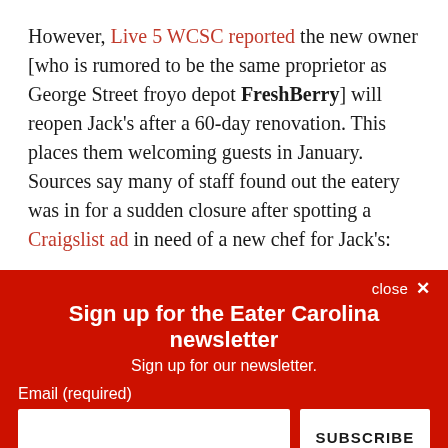However, Live 5 WCSC reported the new owner [who is rumored to be the same proprietor as George Street froyo depot FreshBerry] will reopen Jack's after a 60-day renovation. This places them welcoming guests in January. Sources say many of staff found out the eatery was in for a sudden closure after spotting a Craigslist ad in need of a new chef for Jack's:
close ×
Sign up for the Eater Carolina newsletter
Sign up for our newsletter.
Email (required)
SUBSCRIBE
By submitting your email, you agree to our Terms and Privacy Notice. You can opt out at any time. This site is protected by reCAPTCHA and the Google Privacy Policy and Terms of Service apply.